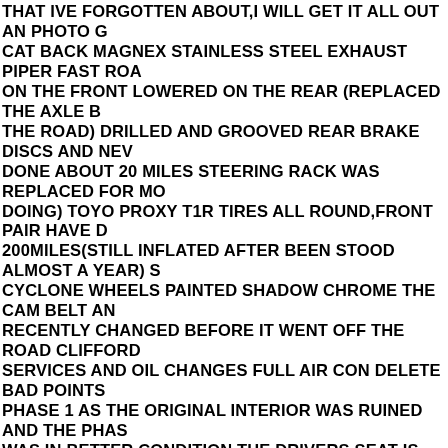THAT IVE FORGOTTEN ABOUT,I WILL GET IT ALL OUT AN PHOTO G CAT BACK MAGNEX STAINLESS STEEL EXHAUST PIPER FAST ROA ON THE FRONT LOWERED ON THE REAR (REPLACED THE AXLE B THE ROAD) DRILLED AND GROOVED REAR BRAKE DISCS AND NEV DONE ABOUT 20 MILES STEERING RACK WAS REPLACED FOR MO DOING) TOYO PROXY T1R TIRES ALL ROUND,FRONT PAIR HAVE D 200MILES(STILL INFLATED AFTER BEEN STOOD ALMOST A YEAR) S CYCLONE WHEELS PAINTED SHADOW CHROME THE CAM BELT AN RECENTLY CHANGED BEFORE IT WENT OFF THE ROAD CLIFFORD SERVICES AND OIL CHANGES FULL AIR CON DELETE BAD POINTS PHASE 1 AS THE ORIGINAL INTERIOR WAS RUINED AND THE PHAS WAS IN BETTER CONDITION,THE DRIVERS SEAT IS NOW SHOWING HIGH MILAGE BUT ALOT OF THE PARTS ARE NEW OR HAD BEEN R YEARS IVE HAD IT. THE OBVIOUS PAINT WORK NEEDED NO MOT B IT WONT PASS WITH ABIT OF WORK ON THE BRAKES(OR USE) AN BLADES.I DID THE WORK REQUIRED FROM THE LAST FAIL(SEE GO DETAILS)BUT OBVIOUSLY IT HAS BEEN STOOD FOR A WHILE SO W OVER THE HEAD IS RATTLY,THIS IS BECAUSE THE PORTED AND P ON IT DROPPED A VALVE,I HAD A SPARE HEAD LAYING AROUND S ON TO GET IT BACK ON THE ROAD AS I WAS USING IT DAILY TO CO HAVE ANY OTHER VEHICLES TO USE SO JUST NEEDED IT BACK O THE PORTED HEAD RE SKIMMED AND ITS READY TO REBUILD BUT EVER SINCE. 3RD AND 4TH GEAR SYCROS HAVE GONE SO IT GRI DOWN INTO 3RD AND 4TH UNLESS YOU CATCH IT RIGHT,ITS DONE HAVE GOT A RECONDITIONED GEAR BOX TO GO IN IT IM NOT SUR